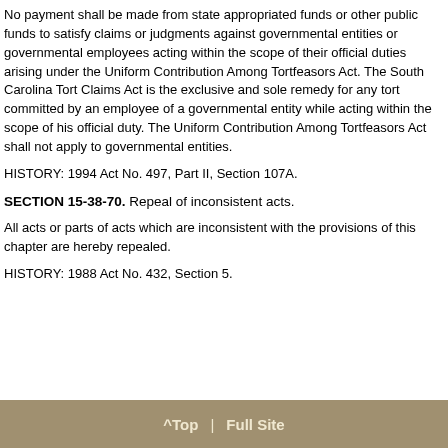No payment shall be made from state appropriated funds or other public funds to satisfy claims or judgments against governmental entities or governmental employees acting within the scope of their official duties arising under the Uniform Contribution Among Tortfeasors Act. The South Carolina Tort Claims Act is the exclusive and sole remedy for any tort committed by an employee of a governmental entity while acting within the scope of his official duty. The Uniform Contribution Among Tortfeasors Act shall not apply to governmental entities.
HISTORY: 1994 Act No. 497, Part II, Section 107A.
SECTION 15-38-70. Repeal of inconsistent acts.
All acts or parts of acts which are inconsistent with the provisions of this chapter are hereby repealed.
HISTORY: 1988 Act No. 432, Section 5.
^Top | Full Site